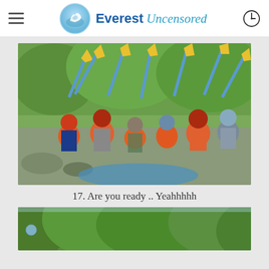Everest Uncensored
[Figure (photo): Group of people in orange life vests and helmets holding up yellow and blue paddles outdoors near a river, celebrating before a rafting trip.]
17. Are you ready .. Yeahhhhh
[Figure (photo): Outdoor nature scene with dense green trees and a ball visible at left edge, partially cut off at bottom of page.]